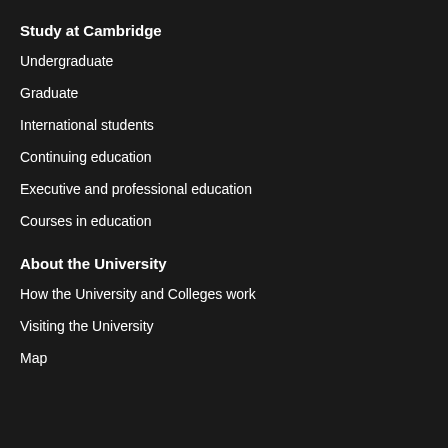Study at Cambridge
Undergraduate
Graduate
International students
Continuing education
Executive and professional education
Courses in education
About the University
How the University and Colleges work
Visiting the University
Map